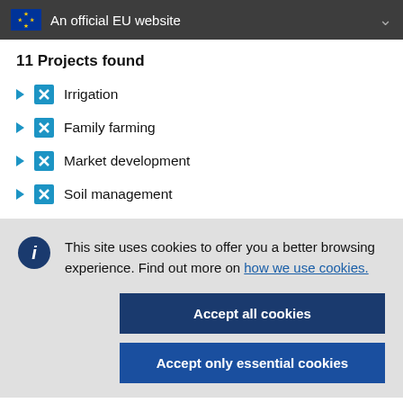An official EU website
11 Projects found
Irrigation
Family farming
Market development
Soil management
This site uses cookies to offer you a better browsing experience. Find out more on how we use cookies.
Accept all cookies
Accept only essential cookies